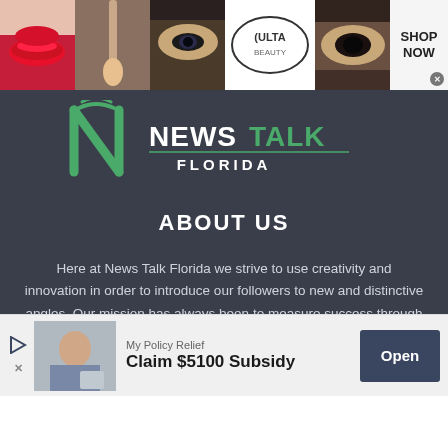[Figure (photo): Top banner advertisement for Ulta Beauty showing makeup/cosmetic images with a 'SHOP NOW' button and close button]
[Figure (logo): NewsTalk Florida logo with green N and radio tower icon, text reads NEWSTALK FLORIDA]
ABOUT US
Here at News Talk Florida we strive to use creativity and innovation in order to introduce our followers to new and distinctive angles. Our mission has always been to measure success through the growth and development of our talent
[Figure (screenshot): Bottom advertisement banner for My Policy Relief showing a person holding papers, text 'Claim $5100 Subsidy' and an 'Open' button]